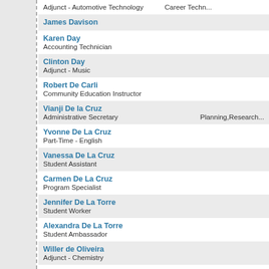Adjunct - Automotive Technology | Career Techn...
James Davison
Karen Day
Accounting Technician
Clinton Day
Adjunct - Music
Robert De Carli
Community Education Instructor
Vianji De la Cruz
Administrative Secretary | Planning,Research...
Yvonne De La Cruz
Part-Time - English
Vanessa De La Cruz
Student Assistant
Carmen De La Cruz
Program Specialist
Jennifer De La Torre
Student Worker
Alexandra De La Torre
Student Ambassador
Willer de Oliveira
Adjunct - Chemistry